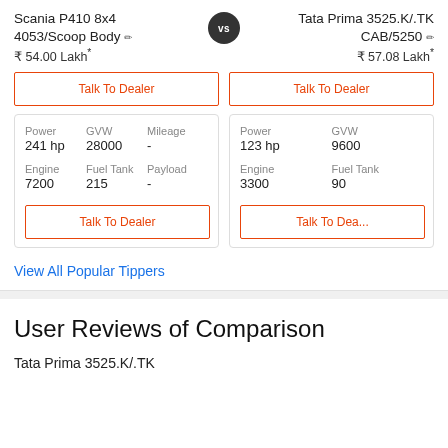Scania P410 8x4 4053/Scoop Body ✏
₹ 54.00 Lakh*
vs
Tata Prima 3525.K/.TK CAB/5250 ✏
₹ 57.08 Lakh*
Talk To Dealer
Talk To Dealer
| Power | GVW | Mileage |
| --- | --- | --- |
| 241 hp | 28000 | - |
| Engine | Fuel Tank | Payload |
| 7200 | 215 | - |
| Power | GVW |
| --- | --- |
| 123 hp | 9600 |
| Engine | Fuel Tank |
| 3300 | 90 |
Talk To Dealer
Talk To Dea...
View All Popular Tippers
User Reviews of Comparison
Tata Prima 3525.K/.TK